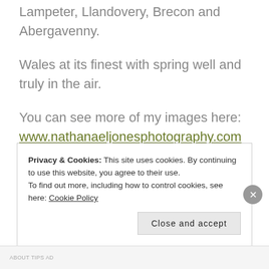Lampeter, Llandovery, Brecon and Abergavenny.
Wales at its finest with spring well and truly in the air.
You can see more of my images here:
www.nathanaeljonesphotography.com
Privacy & Cookies: This site uses cookies. By continuing to use this website, you agree to their use.
To find out more, including how to control cookies, see here: Cookie Policy
ABOUT TIPS AD